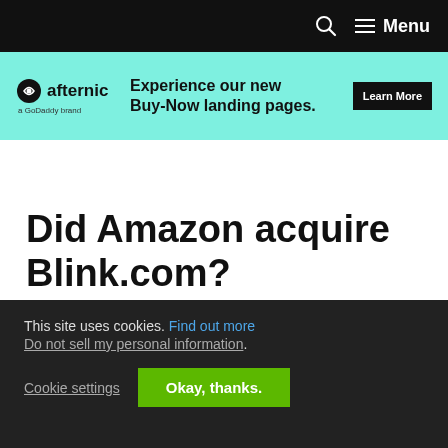Menu
[Figure (other): Afternic GoDaddy brand advertisement banner: 'Experience our new Buy-Now landing pages.' with Learn More button]
Did Amazon acquire Blink.com?
January 5, 2022 by James Iles | 1 Comment
This site uses cookies. Find out more Do not not sell my personal information.
Cookie settings  Okay, thanks.